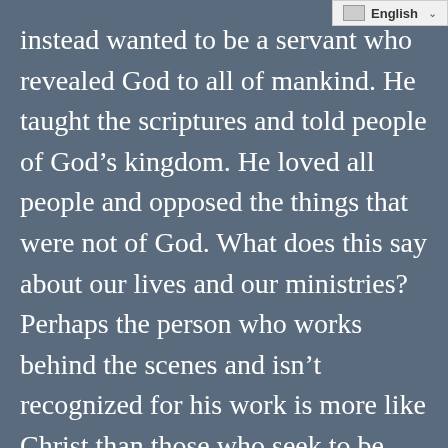en English ▾
instead wanted to be a servant who revealed God to all of mankind. He taught the scriptures and told people of God's kingdom. He loved all people and opposed the things that were not of God. What does this say about our lives and our ministries? Perhaps the person who works behind the scenes and isn't recognized for his work is more like Christ than those who seek to be popular or be heard. Perhaps true, beneficial ministry relies much more on relationships than it does personalities. Perhaps...